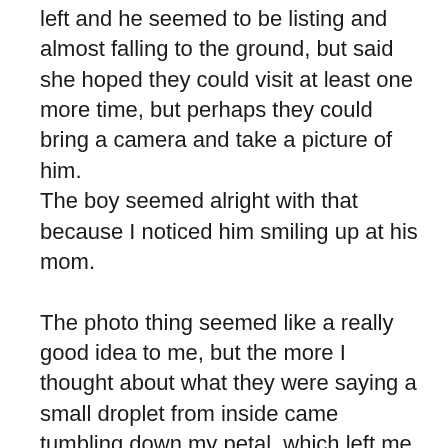left and he seemed to be listing and almost falling to the ground, but said she hoped they could visit at least one more time, but perhaps they could bring a camera and take a picture of him.
The boy seemed alright with that because I noticed him smiling up at his mom.

The photo thing seemed like a really good idea to me, but the more I thought about what they were saying a small droplet from inside came tumbling down my petal, which left me with a weak feeling, so that when the warm breeze blew my way I could hardly fight it any longer.
Then I thought, I have to make it until they come back; at least for that.
Then I thought about my early years and the flower shows.
They must have taken some photos of me then in all my glory. But where are they. Look at this garden I am in. No